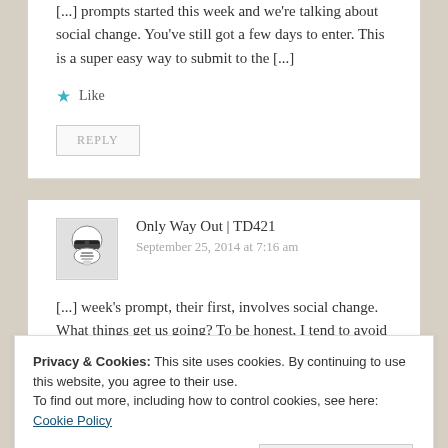[...] prompts started this week and we're talking about social change. You've still got a few days to enter. This is a super easy way to submit to the [...]
★ Like
REPLY
Only Way Out | TD421
September 25, 2014 at 7:16 am
[...] week's prompt, their first, involves social change. What things get us going? To be honest, I tend to avoid the [...]
Privacy & Cookies: This site uses cookies. By continuing to use this website, you agree to their use.
To find out more, including how to control cookies, see here: Cookie Policy
Close and accept